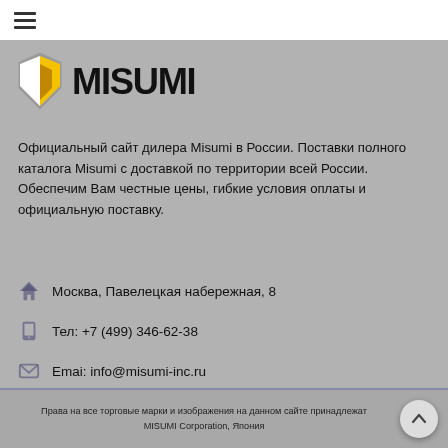[Figure (logo): MISUMI logo with yellow/white diamond shield icon and bold black MISUMI text on grey background]
Официальный сайт дилера Misumi в России. Поставки полного каталога Misumi с доставкой по территории всей России. Обеспечим Вам честные цены, гибкие условия оплаты и официальную поставку.
Москва, Павелецкая набережная, 8
Тел: +7 (499) 346-62-38
Emai: info@misumi-inc.ru
Права на все торговые марки и изображения на данном сайте принадлежат MISUMI Corporation, Япония